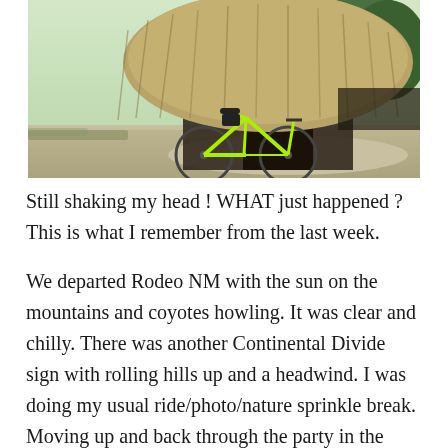[Figure (photo): A yellow bicycle leaning against a thatched-roof hut structure, outdoors on a sandy/gravel path with trees in the background.]
Still shaking my head ! WHAT just happened ? This is what I remember from the last week.
We departed Rodeo NM with the sun on the mountains and coyotes howling. It was clear and chilly. There was another Continental Divide sign with rolling hills up and a headwind. I was doing my usual ride/photo/nature sprinkle break. Moving up and back through the party in the back of the ride.